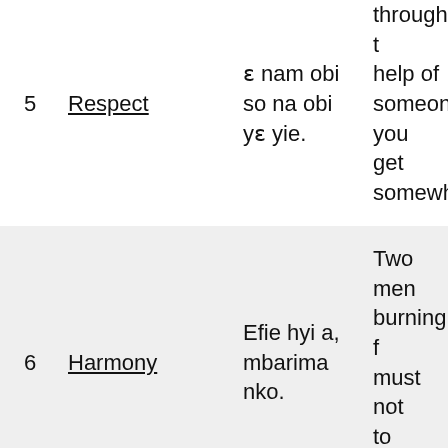| # | Concept | Twi Proverb | English |
| --- | --- | --- | --- |
| 5 | Respect | ɛnam obi so na obi yɛ yie. | through the help of someone you get somewhere |
| 6 | Harmony | Efie hyi a, mbarima nko. | Two men burning h must not to argue. |
| 7 | Financial Responsibility | Yendidi ensi ɛdan | One cann both feas become |
| 8 | Togetherness | Dua baako nndane kwayɛ. | One tree cannot b |